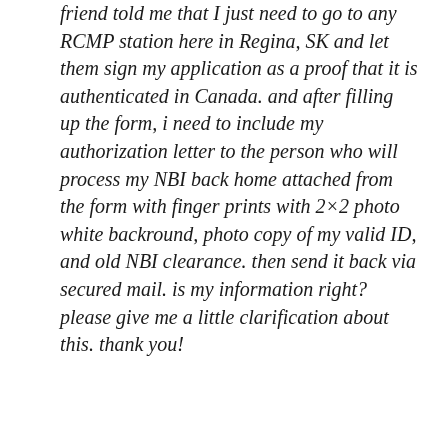friend told me that I just need to go to any RCMP station here in Regina, SK and let them sign my application as a proof that it is authenticated in Canada. and after filling up the form, i need to include my authorization letter to the person who will process my NBI back home attached from the form with finger prints with 2×2 photo white backround, photo copy of my valid ID, and old NBI clearance. then send it back via secured mail. is my information right? please give me a little clarification about this. thank you!